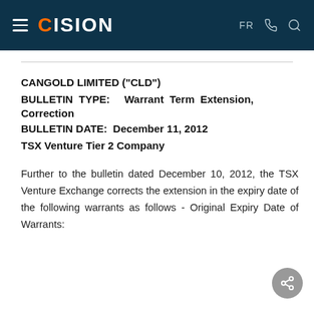CISION — FR
CANGOLD LIMITED ("CLD")
BULLETIN TYPE: Warrant Term Extension, Correction
BULLETIN DATE: December 11, 2012
TSX Venture Tier 2 Company
Further to the bulletin dated December 10, 2012, the TSX Venture Exchange corrects the extension in the expiry date of the following warrants as follows - Original Expiry Date of Warrants: